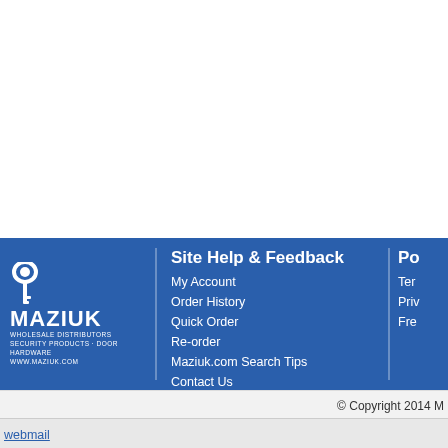[Figure (logo): Maziuk Wholesale Distributors logo with key icon, white text on blue background]
Site Help & Feedback
My Account
Order History
Quick Order
Re-order
Maziuk.com Search Tips
Contact Us
Po
Ter
Priv
Fre
© Copyright 2014 M
webmail